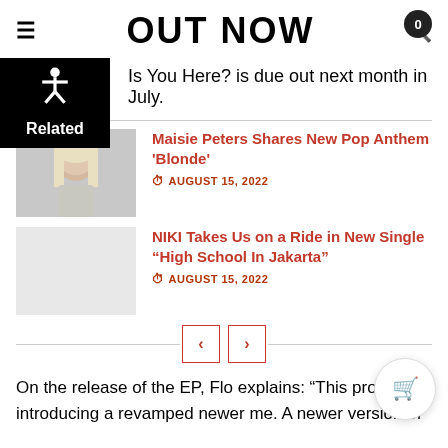OUT NOW
Is You Here? is due out next month in July.
Related
[Figure (photo): Photo of Maisie Peters, blonde hair]
Maisie Peters Shares New Pop Anthem 'Blonde'
AUGUST 15, 2022
[Figure (photo): Placeholder grey thumbnail for NIKI article]
NIKI Takes Us on a Ride in New Single “High School In Jakarta”
AUGUST 15, 2022
On the release of the EP, Flo explains: “This project introducing a revamped newer me. A newer version of